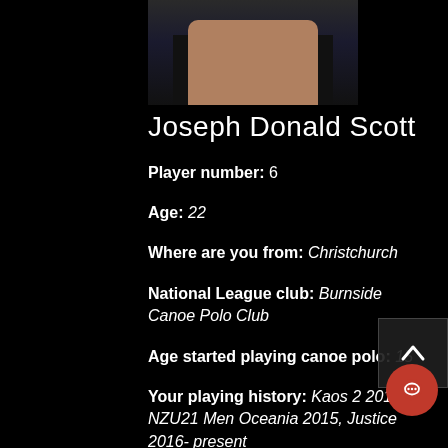[Figure (photo): Partial photo of a person wearing a dark shirt, showing torso/arms area against a dark background]
Joseph Donald Scott
Player number: 6
Age: 22
Where are you from: Christchurch
National League club: Burnside Canoe Polo Club
Age started playing canoe polo: 15
Your playing history: Kaos 2 2015, NZU21 Men Oceania 2015, Justice 2016- present
Most memorable canoe polo